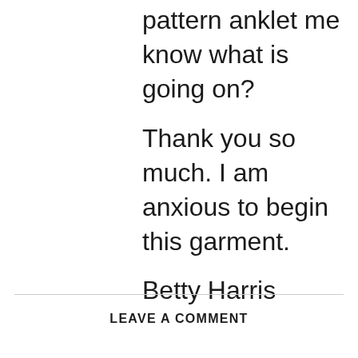pattern anklet me know what is going on?
Thank you so much. I am anxious to begin this garment.
Betty Harris
LEAVE A COMMENT